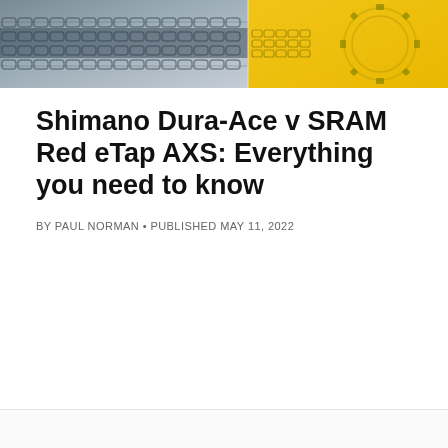[Figure (photo): Hero banner image split into two panels: left panel shows a close-up of a bicycle chain and sprocket in blue/grey tones, right panel shows a bicycle gear/chainring with a yellow background.]
Shimano Dura-Ace v SRAM Red eTap AXS: Everything you need to know
BY PAUL NORMAN • PUBLISHED MAY 11, 2022